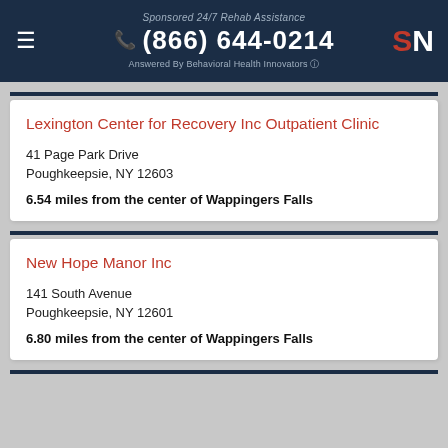Sponsored 24/7 Rehab Assistance (866) 644-0214 Answered By Behavioral Health Innovators
Lexington Center for Recovery Inc Outpatient Clinic
41 Page Park Drive
Poughkeepsie, NY 12603
6.54 miles from the center of Wappingers Falls
New Hope Manor Inc
141 South Avenue
Poughkeepsie, NY 12601
6.80 miles from the center of Wappingers Falls